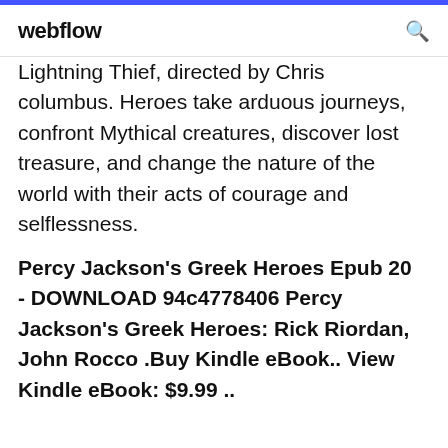webflow
Lightning Thief, directed by Chris columbus. Heroes take arduous journeys, confront Mythical creatures, discover lost treasure, and change the nature of the world with their acts of courage and selflessness.
Percy Jackson's Greek Heroes Epub 20 - DOWNLOAD 94c4778406 Percy Jackson's Greek Heroes: Rick Riordan, John Rocco .Buy Kindle eBook.. View Kindle eBook: $9.99 ..